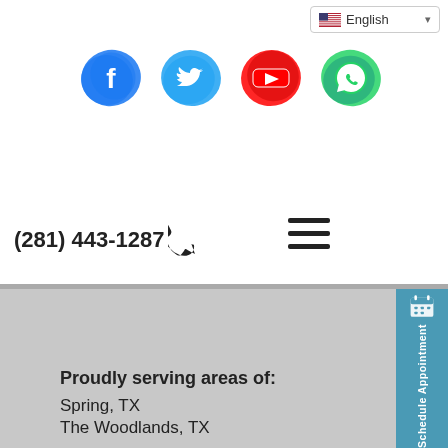English language selector, social media icons (Facebook, Twitter, YouTube, WhatsApp), phone (281) 443-1287, hamburger menu
[Figure (logo): Language selector button showing US flag and 'English' text with dropdown arrow]
[Figure (infographic): Social media icons: Facebook (blue ink splash), Twitter (cyan ink splash), YouTube (red ink splash), WhatsApp (green ink splash)]
(281) 443-1287
[Figure (infographic): Hamburger menu icon with three horizontal lines]
[Figure (infographic): Schedule Appointment side tab button in teal/blue with calendar icon]
Proudly serving areas of:
Spring, TX
The Woodlands, TX
Humble, TX
Conroe, TX